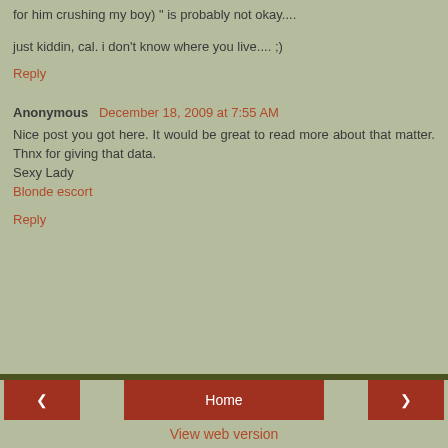for him crushing my boy) " is probably not okay....
just kiddin, cal. i don't know where you live.... ;)
Reply
Anonymous  December 18, 2009 at 7:55 AM
Nice post you got here. It would be great to read more about that matter. Thnx for giving that data.
Sexy Lady
Blonde escort
Reply
< Home > View web version